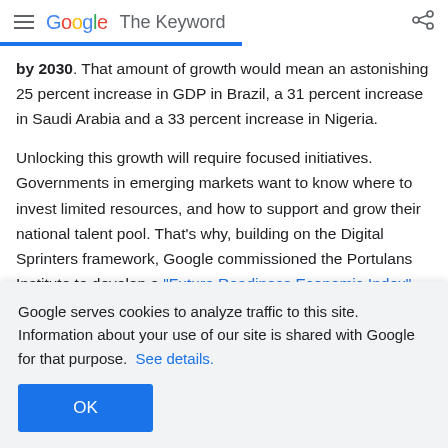≡ Google The Keyword
by 2030. That amount of growth would mean an astonishing 25 percent increase in GDP in Brazil, a 31 percent increase in Saudi Arabia and a 33 percent increase in Nigeria.

Unlocking this growth will require focused initiatives. Governments in emerging markets want to know where to invest limited resources, and how to support and grow their national talent pool.  That's why, building on the Digital Sprinters framework, Google commissioned the Portulans Institute to develop a "Future Readiness Economic Index" — a ranking of
Google serves cookies to analyze traffic to this site. Information about your use of our site is shared with Google for that purpose.  See details.
OK